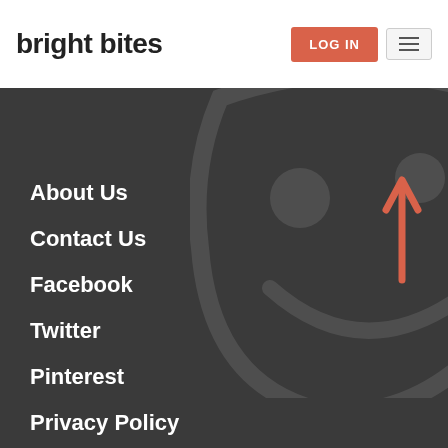bright bites
About Us
Contact Us
Facebook
Twitter
Pinterest
Privacy Policy
Terms of Use